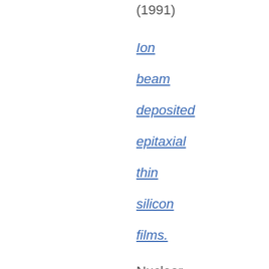(1991)
Ion beam deposited epitaxial thin silicon films.
Nuclear Instruments and Methods in Physics Research Section B: Beam Interactions with Materials